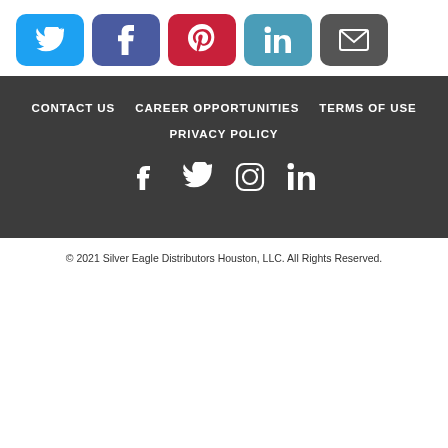[Figure (other): Row of five social share buttons: Twitter (blue bird), Facebook (purple f), Pinterest (red P), LinkedIn (teal in), Email (gray envelope)]
[Figure (other): Footer navigation links: CONTACT US, CAREER OPPORTUNITIES, TERMS OF USE, PRIVACY POLICY]
[Figure (other): Footer social media icons: Facebook, Twitter, Instagram, LinkedIn]
© 2021 Silver Eagle Distributors Houston, LLC. All Rights Reserved.